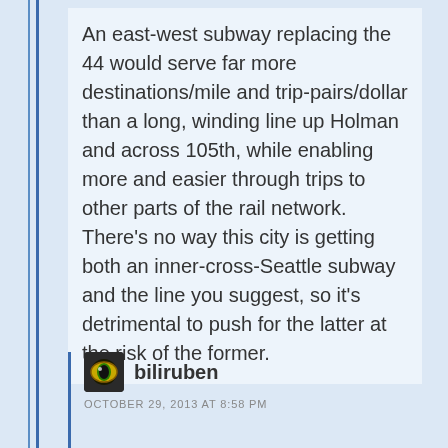An east-west subway replacing the 44 would serve far more destinations/mile and trip-pairs/dollar than a long, winding line up Holman and across 105th, while enabling more and easier through trips to other parts of the rail network. There's no way this city is getting both an inner-cross-Seattle subway and the line you suggest, so it's detrimental to push for the latter at the risk of the former.
biliruben
OCTOBER 29, 2013 AT 8:58 PM